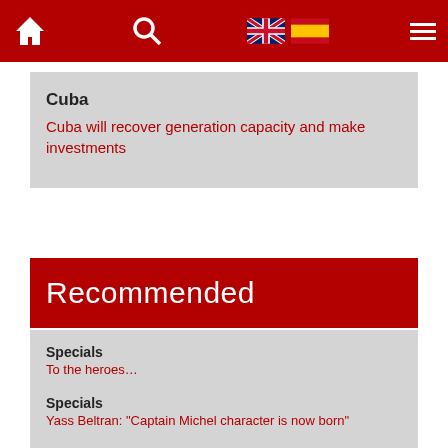Navigation bar with home, search, UK flag, Spain flag, and hamburger menu
Cuba
Cuba will recover generation capacity and make investments
Recommended
Specials
To the heroes…
Specials
Yass Beltran: "Captain Michel character is now born"
Specials
And Michael Mirabal wrapped Matanzas in his arms